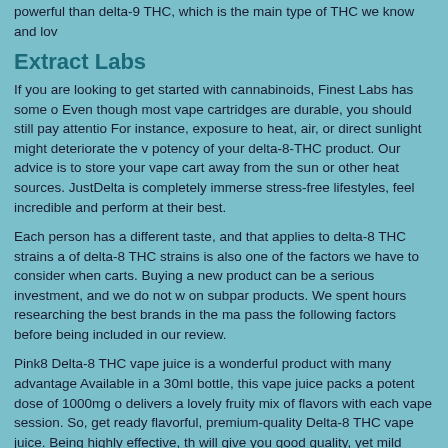powerful than delta-9 THC, which is the main type of THC we know and lov
Extract Labs
If you are looking to get started with cannabinoids, Finest Labs has some o Even though most vape cartridges are durable, you should still pay attentio For instance, exposure to heat, air, or direct sunlight might deteriorate the v potency of your delta-8-THC product. Our advice is to store your vape cart away from the sun or other heat sources. JustDelta is completely immerse stress-free lifestyles, feel incredible and perform at their best.
Each person has a different taste, and that applies to delta-8 THC strains a of delta-8 THC strains is also one of the factors we have to consider when carts. Buying a new product can be a serious investment, and we do not w on subpar products. We spent hours researching the best brands in the ma pass the following factors before being included in our review.
Pink8 Delta-8 THC vape juice is a wonderful product with many advantage Available in a 30ml bottle, this vape juice packs a potent dose of 1000mg o delivers a lovely fruity mix of flavors with each vape session. So, get ready flavorful, premium-quality Delta-8 THC vape juice. Being highly effective, th will give you good quality, yet mild high, with subtle yet positive changes in Choosing Froopa Delta-8 Vape Juice will prove to be an excellent decision genuine, nicely flavored, high-quality Delta-8 product.